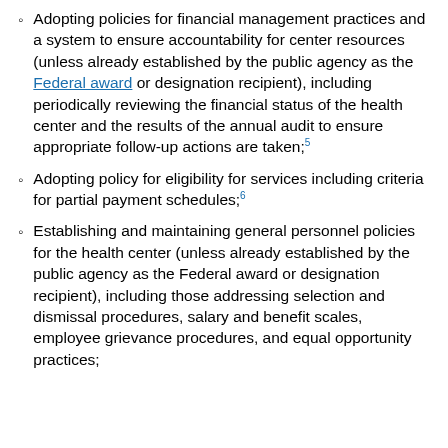Adopting policies for financial management practices and a system to ensure accountability for center resources (unless already established by the public agency as the Federal award or designation recipient), including periodically reviewing the financial status of the health center and the results of the annual audit to ensure appropriate follow-up actions are taken;5
Adopting policy for eligibility for services including criteria for partial payment schedules;6
Establishing and maintaining general personnel policies for the health center (unless already established by the public agency as the Federal award or designation recipient), including those addressing selection and dismissal procedures, salary and benefit scales, employee grievance procedures, and equal opportunity practices;